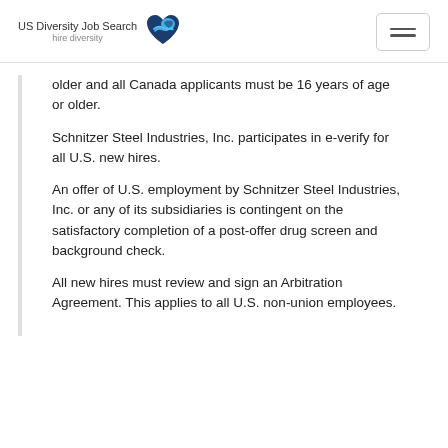US Diversity Job Search | hire diversity
older and all Canada applicants must be 16 years of age or older.
Schnitzer Steel Industries, Inc. participates in e-verify for all U.S. new hires.
An offer of U.S. employment by Schnitzer Steel Industries, Inc. or any of its subsidiaries is contingent on the satisfactory completion of a post-offer drug screen and background check.
All new hires must review and sign an Arbitration Agreement. This applies to all U.S. non-union employees.